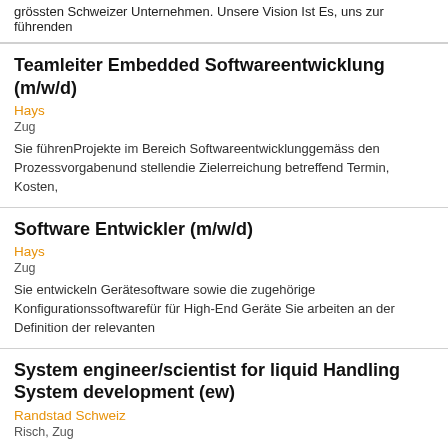grössten Schweizer Unternehmen. Unsere Vision Ist Es, uns zur führenden
Teamleiter Embedded Softwareentwicklung (m/w/d)
Hays
Zug
Sie führenProjekte im Bereich Softwareentwicklunggemäss den Prozessvorgabenund stellendie Zielerreichung betreffend Termin, Kosten,
Software Entwickler (m/w/d)
Hays
Zug
Sie entwickeln Gerätesoftware sowie die zugehörige Konfigurationssoftwarefür für High-End Geräte Sie arbeiten an der Definition der relevanten
System engineer/scientist for liquid Handling System development (ew)
Randstad Schweiz
Risch, Zug
System engineer/scientist for liquid Handling System development (ew) do you have experience in System Engineering? Are you a scientist? Do you have